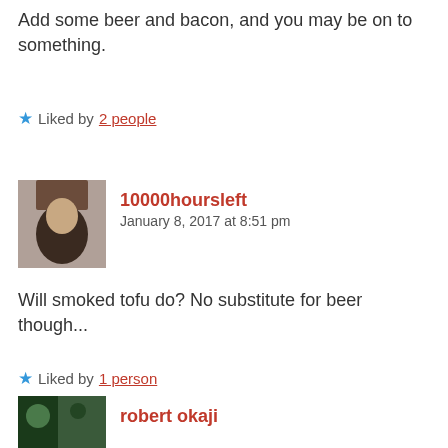Add some beer and bacon, and you may be on to something.
Liked by 2 people
10000hoursleft
January 8, 2017 at 8:51 pm
Will smoked tofu do? No substitute for beer though...
Liked by 1 person
robert okaji